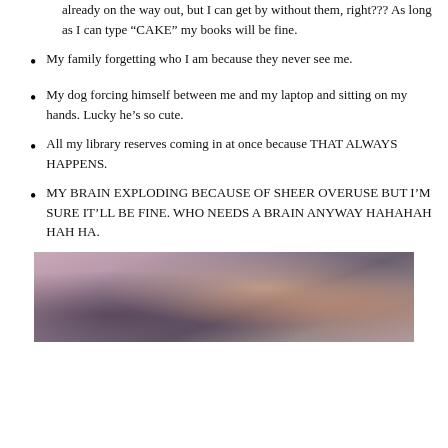already on the way out, but I can get by without them, right??? As long as I can type “CAKE” my books will be fine.
My family forgetting who I am because they never see me.
My dog forcing himself between me and my laptop and sitting on my hands. Lucky he’s so cute.
All my library reserves coming in at once because THAT ALWAYS HAPPENS.
MY BRAIN EXPLODING BECAUSE OF SHEER OVERUSE BUT I’M SURE IT’LL BE FINE. WHO NEEDS A BRAIN ANYWAY HAHAHAH HAH HA.
[Figure (photo): A chaotic scene with explosions, smoke, and rubble in a pink-tinted environment with figures visible.]